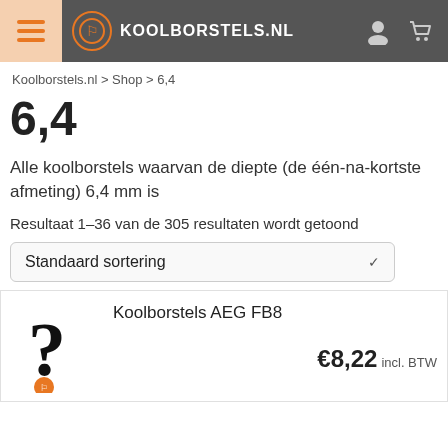KOOLBORSTELS.NL
Koolborstels.nl > Shop > 6,4
6,4
Alle koolborstels waarvan de diepte (de één-na-kortste afmeting) 6,4 mm is
Resultaat 1–36 van de 305 resultaten wordt getoond
Standaard sortering
Koolborstels AEG FB8 €8,22 incl. BTW